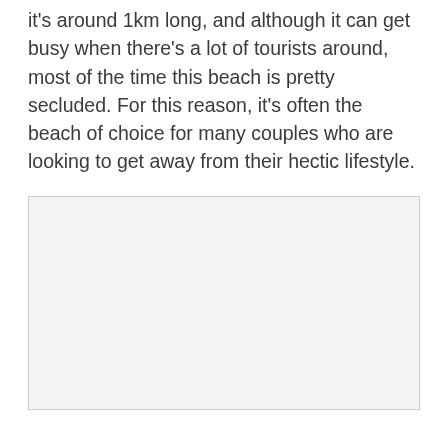it's around 1km long, and although it can get busy when there's a lot of tourists around, most of the time this beach is pretty secluded. For this reason, it's often the beach of choice for many couples who are looking to get away from their hectic lifestyle.
[Figure (photo): A light gray rectangular placeholder image occupying the lower portion of the page.]